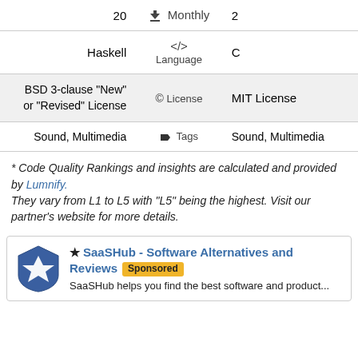| Value | Field | Value2 |
| --- | --- | --- |
| 20 | ↓ Monthly | 2 |
| Haskell | </> Language | C |
| BSD 3-clause "New" or "Revised" License | © License | MIT License |
| Sound, Multimedia | 🏷 Tags | Sound, Multimedia |
* Code Quality Rankings and insights are calculated and provided by Lumnify. They vary from L1 to L5 with "L5" being the highest. Visit our partner's website for more details.
SaaSHub - Software Alternatives and Reviews [Sponsored] SaaSHub helps you find the best software and product...